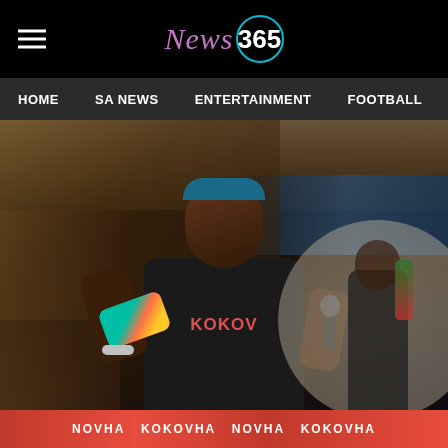News 365
HOME   SA NEWS   ENTERTAINMENT   FOOTBALL   COVID-19
[Figure (photo): A woman wearing a dark shirt with 'KOKO' text, holding a colorful sneaker in one hand and a microphone in the other, performing or speaking at an event. She wears a blue headband and silver bracelets. Background shows indoor venue lighting, trusses, and another performer. Bottom of image shows a red banner with 'NOVHA KOKOVHA' text repeated. A large light-colored circular element is partially visible on the right.]